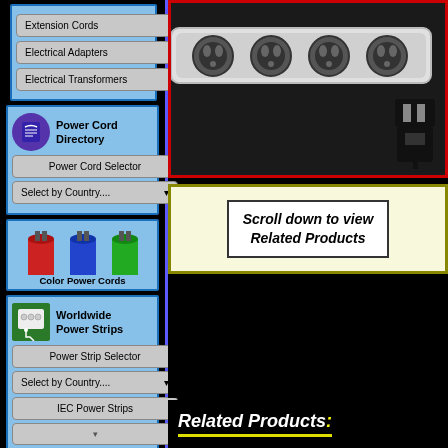Extension Cords ▾
Electrical Adapters ▾
Electrical Transformers ▾
Power Cord Directory
Power Cord Selector
Select by Country.... ▾
[Figure (photo): Color Power Cords - red, blue, and green power cords]
Color Power Cords
Worldwide Power Strips
Power Strip Selector
Select by Country.... ▾
IEC Power Strips
[Figure (photo): Power strip with 4 Swiss-type outlets and a plug connector]
Scroll down to view Related Products
Related Products: